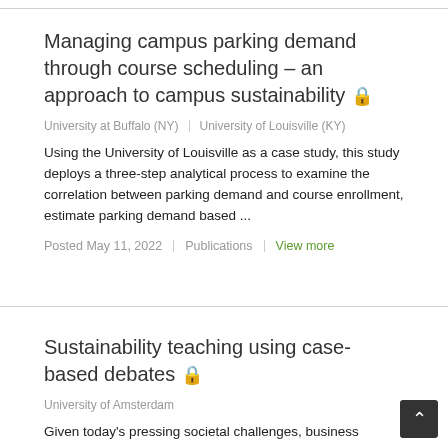Managing campus parking demand through course scheduling – an approach to campus sustainability 🔒
University at Buffalo (NY)   University of Louisville (KY)
Using the University of Louisville as a case study, this study deploys a three-step analytical process to examine the correlation between parking demand and course enrollment, estimate parking demand based ...
Posted May 11, 2022   Publications   View more
Sustainability teaching using case-based debates 🔒
University of Amsterdam
Given today's pressing societal challenges, business schools are increasingly expected to incorporate sustainability in their